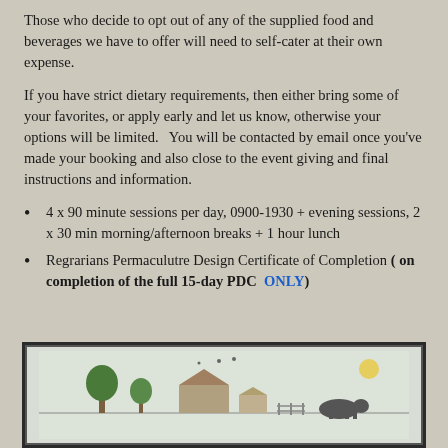Those who decide to opt out of any of the supplied food and beverages we have to offer will need to self-cater at their own expense.
If you have strict dietary requirements, then either bring some of your favorites, or apply early and let us know, otherwise your options will be limited.   You will be contacted by email once you've made your booking and also close to the event giving and final instructions and information.
4 x 90 minute sessions per day, 0900-1930 + evening sessions, 2 x 30 min morning/afternoon breaks + 1 hour lunch
Regrarians Permaculutre Design Certificate of Completion ( on completion of the full 15-day PDC  ONLY)
[Figure (illustration): A framed illustration showing a farm/permaculture scene with trees, animals and structures]